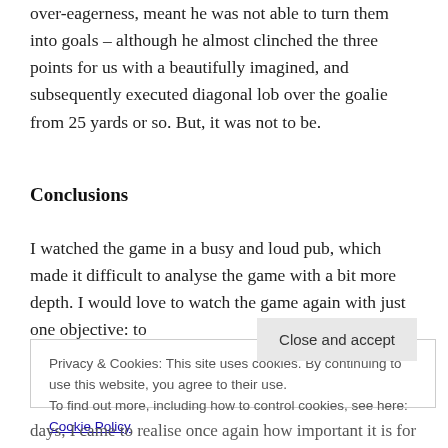over-eagerness, meant he was not able to turn them into goals – although he almost clinched the three points for us with a beautifully imagined, and subsequently executed diagonal lob over the goalie from 25 yards or so. But, it was not to be.
Conclusions
I watched the game in a busy and loud pub, which made it difficult to analyse the game with a bit more depth. I would love to watch the game again with just one objective: to
Privacy & Cookies: This site uses cookies. By continuing to use this website, you agree to their use.
To find out more, including how to control cookies, see here: Cookie Policy
days, I came to realise once again how important it is for